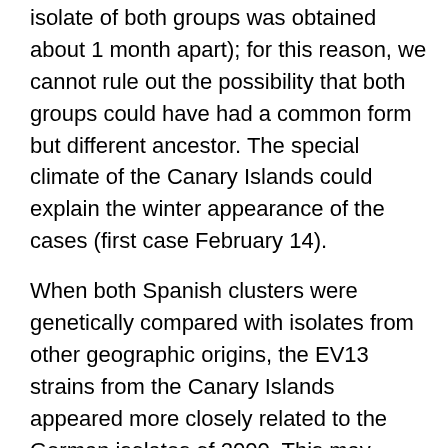isolate of both groups was obtained about 1 month apart); for this reason, we cannot rule out the possibility that both groups could have had a common form but different ancestor. The special climate of the Canary Islands could explain the winter appearance of the cases (first case February 14).
When both Spanish clusters were genetically compared with isolates from other geographic origins, the EV13 strains from the Canary Islands appeared more closely related to the German isolates of 2000. This may reflect the introduction of EV13 from the Canary Islands into northern Europe (or vice versa) through tourist travel. The European isolates (Swedish, Italian, and German) obtained before 2000 presented nucleotide distances in respect to the Spanish isolates that increased over time. On the other hand, the two American strains